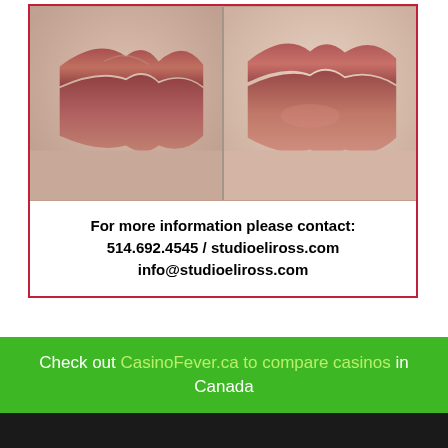[Figure (photo): Side-by-side close-up photos of lips — before and after permanent makeup / lip blush treatment]
For more information please contact:
514.692.4545 / studioeliross.com
info@studioeliross.com
Check out CasinoFever.ca to compare casinos in Canada